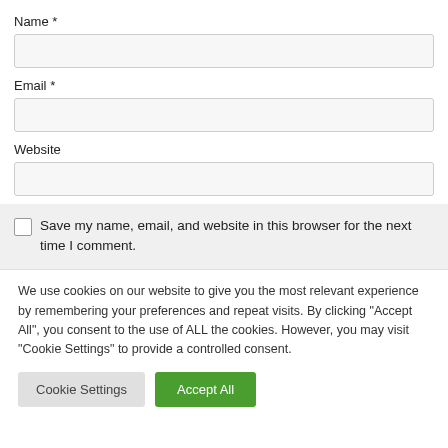Name *
Email *
Website
Save my name, email, and website in this browser for the next time I comment.
We use cookies on our website to give you the most relevant experience by remembering your preferences and repeat visits. By clicking "Accept All", you consent to the use of ALL the cookies. However, you may visit "Cookie Settings" to provide a controlled consent.
Cookie Settings
Accept All